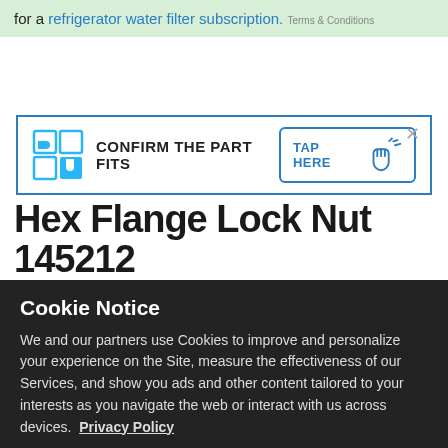for a refrigerator water filter subscription. Terms & Conditions
[Figure (other): Confirm the part fits banner with puzzle piece icon and TAP HERE button with hand pointer icon]
Hex Flange Lock Nut 145212
Cookie Notice
We and our partners use Cookies to improve and personalize your experience on the Site, measure the effectiveness of our Services, and show you ads and other content tailored to your interests as you navigate the web or interact with us across devices. Privacy Policy
Ok